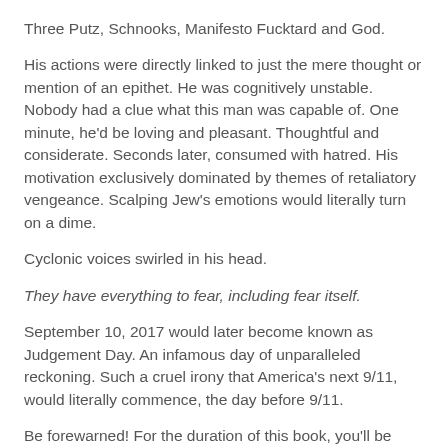Three Putz, Schnooks, Manifesto Fucktard and God.
His actions were directly linked to just the mere thought or mention of an epithet.  He was cognitively unstable.  Nobody had a clue what this man was capable of.  One minute, he'd be loving and pleasant.  Thoughtful and considerate.  Seconds later, consumed with hatred.  His motivation exclusively dominated by themes of retaliatory vengeance.  Scalping Jew's emotions would literally turn on a dime.
Cyclonic voices swirled in his head.
They have everything to fear, including fear itself.
September 10, 2017 would later become known as Judgement Day.  An infamous day of unparalleled reckoning.  Such a cruel irony that America's next 9/11, would literally commence, the day before 9/11.
Be forewarned!  For the duration of this book, you'll be witnessing the marked transitions of Scalping Jew.  His multiple personalities will leave you sweating and squirming